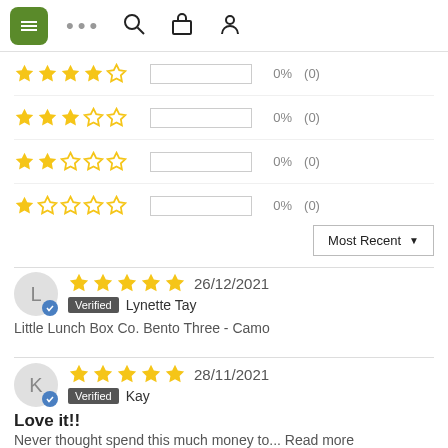[Figure (screenshot): Website navigation bar with green menu icon, dots, search, bag, and person icons]
| Stars | Bar | Pct | Count |
| --- | --- | --- | --- |
| 4 stars |  | 0% | (0) |
| 3 stars |  | 0% | (0) |
| 2 stars |  | 0% | (0) |
| 1 star |  | 0% | (0) |
Most Recent ▼
★★★★★ 26/12/2021 Verified Lynette Tay
Little Lunch Box Co. Bento Three - Camo
★★★★★ 28/11/2021 Verified Kay
Love it!!
Never thought spend this much money to... Read more